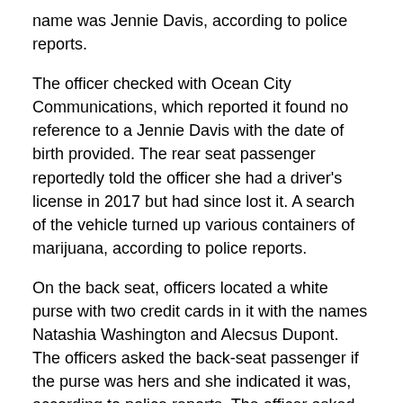name was Jennie Davis, according to police reports.
The officer checked with Ocean City Communications, which reported it found no reference to a Jennie Davis with the date of birth provided. The rear seat passenger reportedly told the officer she had a driver's license in 2017 but had since lost it. A search of the vehicle turned up various containers of marijuana, according to police reports.
On the back seat, officers located a white purse with two credit cards in it with the names Natashia Washington and Alecsus Dupont. The officers asked the back-seat passenger if the purse was hers and she indicated it was, according to police reports. The officer asked the woman to write down her name and date of birth again and she wrote down Jennie Davids and provided a date of birth.
The officer reportedly told Davids she was lying to him